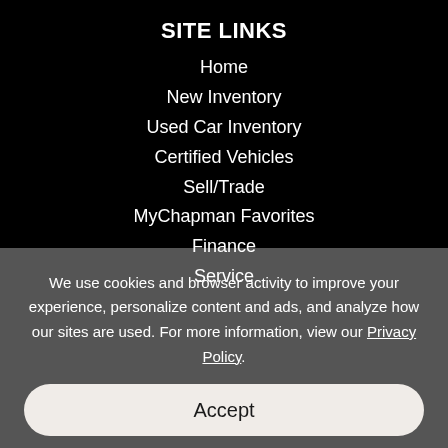SITE LINKS
Home
New Inventory
Used Car Inventory
Certified Vehicles
Sell/Trade
MyChapman Favorites
Finance
Service
We use cookies and browser activity to improve your experience, personalize content and ads, and analyze how our sites are used. For more information, view our Privacy Policy.
Accept